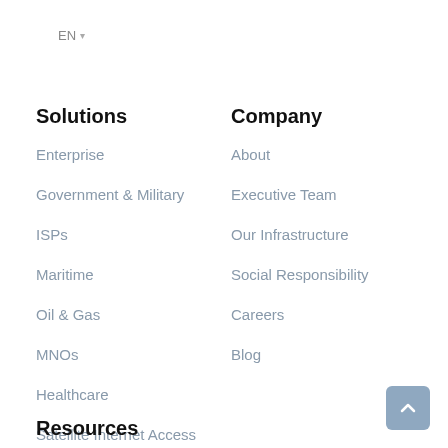EN ▾
Solutions
Enterprise
Government & Military
ISPs
Maritime
Oil & Gas
MNOs
Healthcare
Satellite Internet Access
Company
About
Executive Team
Our Infrastructure
Social Responsibility
Careers
Blog
Resources